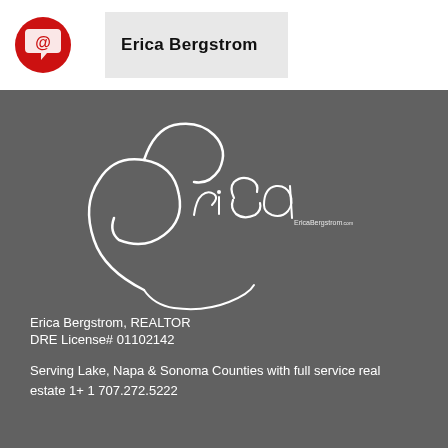[Figure (logo): Red circular logo with chat/message icon in white]
Erica Bergstrom
[Figure (logo): Erica Bergstrom cursive signature logo in white on dark grey background]
Erica Bergstrom, REALTOR
DRE License# 01102142

Serving Lake, Napa & Sonoma Counties with full service real estate 1+ 1 707.272.5222